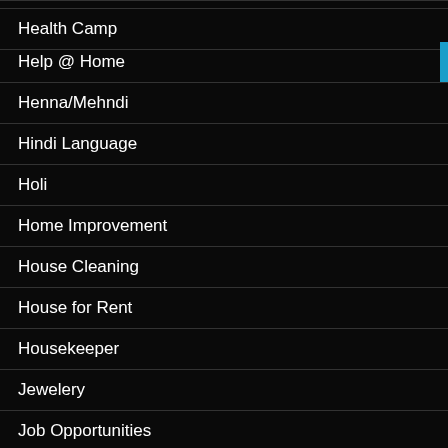Health Camp
Help @ Home
Henna/Mehndi
Hindi Language
Holi
Home Improvement
House Cleaning
House for Rent
Housekeeper
Jewelery
Job Opportunities
Karvachauth